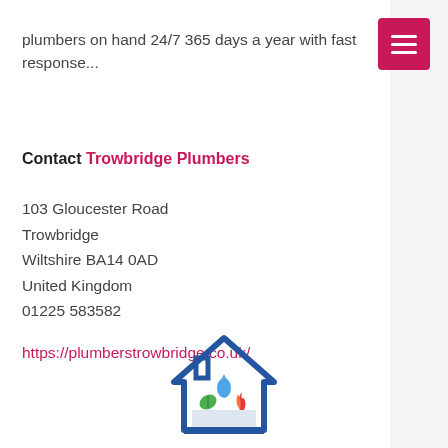plumbers on hand 24/7 365 days a year with fast response...
Contact Trowbridge Plumbers
103 Gloucester Road
Trowbridge
Wiltshire BA14 0AD
United Kingdom
01225 583582
https://plumberstrowbridge.co.uk/
[Figure (logo): House-shaped logo with water drop, leaf, and flame icons inside, in blue outline style]